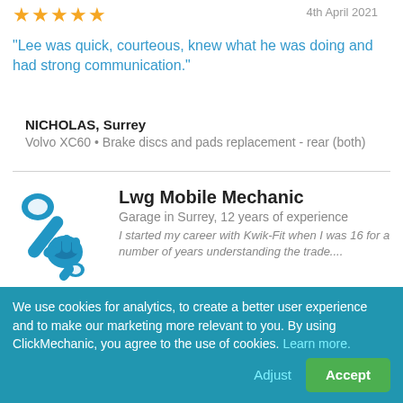[Figure (other): Five gold star rating icons]
4th April 2021
“Lee was quick, courteous, knew what he was doing and had strong communication.”
NICHOLAS, Surrey
Volvo XC60 • Brake discs and pads replacement - rear (both)
[Figure (illustration): Blue wrench and hand mechanic icon]
Lwg Mobile Mechanic
Garage in Surrey, 12 years of experience
I started my career with Kwik-Fit when I was 16 for a number of years understanding the trade....
[Figure (other): Five gold star rating icons for Lwg Mobile Mechanic]
We use cookies for analytics, to create a better user experience and to make our marketing more relevant to you. By using ClickMechanic, you agree to the use of cookies. Learn more.